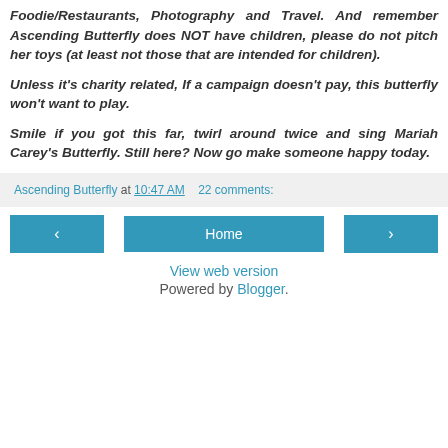Foodie/Restaurants, Photography and Travel. And remember Ascending Butterfly does NOT have children, please do not pitch her toys (at least not those that are intended for children).
Unless it's charity related, If a campaign doesn't pay, this butterfly won't want to play.
Smile if you got this far, twirl around twice and sing Mariah Carey's Butterfly. Still here? Now go make someone happy today.
Ascending Butterfly at 10:47 AM   22 comments:
< Home > View web version Powered by Blogger.